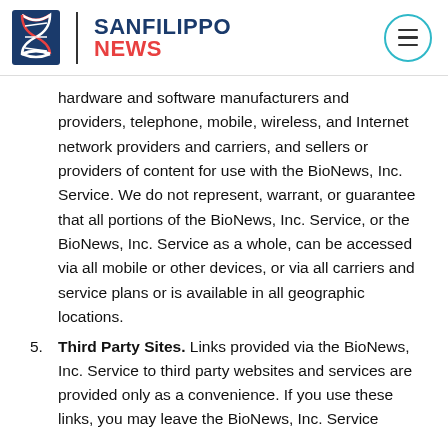SANFILIPPO NEWS
hardware and software manufacturers and providers, telephone, mobile, wireless, and Internet network providers and carriers, and sellers or providers of content for use with the BioNews, Inc. Service. We do not represent, warrant, or guarantee that all portions of the BioNews, Inc. Service, or the BioNews, Inc. Service as a whole, can be accessed via all mobile or other devices, or via all carriers and service plans or is available in all geographic locations.
5. Third Party Sites. Links provided via the BioNews, Inc. Service to third party websites and services are provided only as a convenience. If you use these links, you may leave the BioNews, Inc. Service...